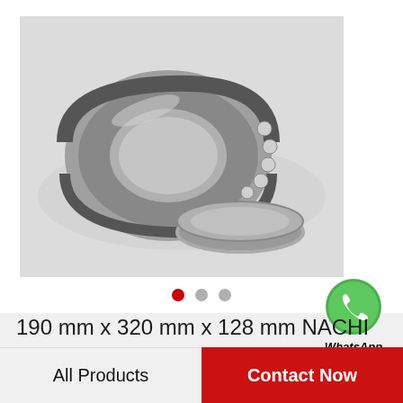[Figure (photo): Cylindrical roller bearing (NACHI 24138EK30) disassembled showing the outer ring, rolling elements, and inner ring components on a light gray background]
[Figure (other): WhatsApp Online button with green WhatsApp icon]
190 mm x 320 mm x 128 mm NACHI 24138EK30 cylindrical roller bearings
All Products
Contact Now